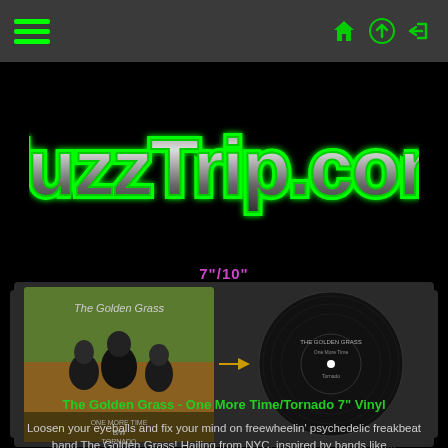Navigation bar with hamburger menu and icons
[Figure (logo): FuzzTrip.com logo in large green metallic chrome text on black background]
7"/10"
[Figure (photo): The Golden Grass band photo on left (album cover with three band members on green/orange background, text: ONE MORE TIME B/W TORNADO) and vinyl record label on right (black label with white dot)]
The Golden Grass - One More Time/Tornado 7" Vinyl
Loosen your eyeballs and fix your mind on freewheelin' psychedelic freakbeat band The Golden Grass! Hailing from NYC, inspired by bands like...